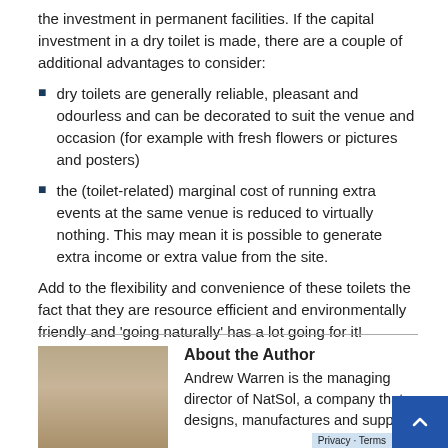the investment in permanent facilities. If the capital investment in a dry toilet is made, there are a couple of additional advantages to consider:
dry toilets are generally reliable, pleasant and odourless and can be decorated to suit the venue and occasion (for example with fresh flowers or pictures and posters)
the (toilet-related) marginal cost of running extra events at the same venue is reduced to virtually nothing. This may mean it is possible to generate extra income or extra value from the site.
Add to the flexibility and convenience of these toilets the fact that they are resource efficient and environmentally friendly and 'going naturally' has a lot going for it!
About the Author
Andrew Warren is the managing director of NatSol, a company that designs, manufactures and supplies